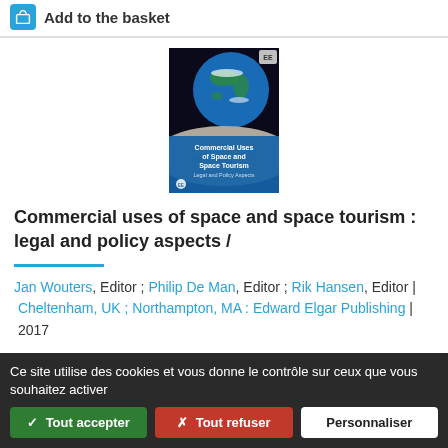Add to the basket
[Figure (illustration): Book cover of 'Commercial Uses of Space and Space Tourism: Legal and Policy Aspects' showing Earth from space with a lunar surface in the foreground, published by Edward Elgar Publishing. EE logo in top right corner.]
Commercial uses of space and space tourism : legal and policy aspects /
Jan Wouters, Editor ; Philip De Man, Editor ; Rik Hansen, Editor | Cheltenham, UK ; Northampton, MA : Edward Elgar Publishing | 2017
Ce site utilise des cookies et vous donne le contrôle sur ceux que vous souhaitez activer
✓ Tout accepter  ✗ Tout refuser  Personnaliser